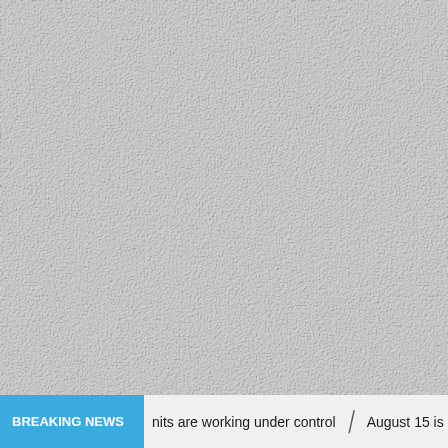[Figure (photo): Light gray textured background resembling leather or embossed paper, filling most of the page.]
BREAKING NEWS   nits are working under control   /   August 15 is